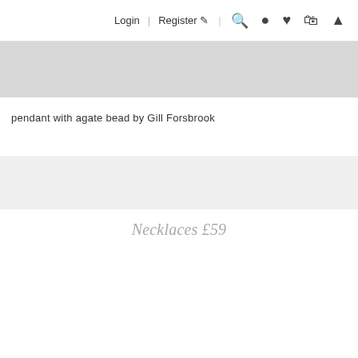Login | Register | Search | Account | Wishlist | Bag | Menu
[Figure (photo): Gray banner image area at the top of the page]
pendant with agate bead by Gill Forsbrook
Necklaces £59
[Figure (photo): Close-up photo of a necklace with a dark agate bead pendant on a black cord/leather lace, photographed against a light background]